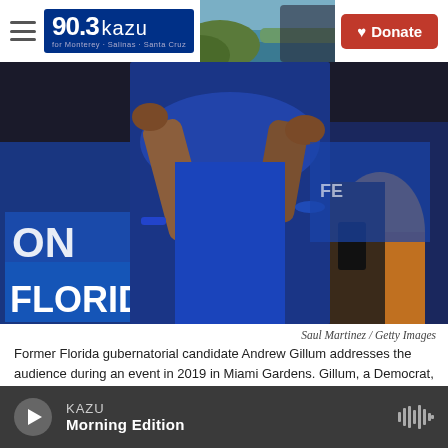90.3 kazu — for Monterey · Salinas · Santa Cruz   Donate
[Figure (photo): A man in a blue polo shirt speaking at a political rally with blue campaign signs reading 'FLORIDA' visible in the background; crowd around him.]
Saul Martinez / Getty Images
Former Florida gubernatorial candidate Andrew Gillum addresses the audience during an event in 2019 in Miami Gardens. Gillum, a Democrat, was indicted Wednesday by a federal grand jury alleging he sought campaign donations and funneled a portion of them back to him through third parties.
MIAMI — Florida's former Democratic candidate for
KAZU Morning Edition